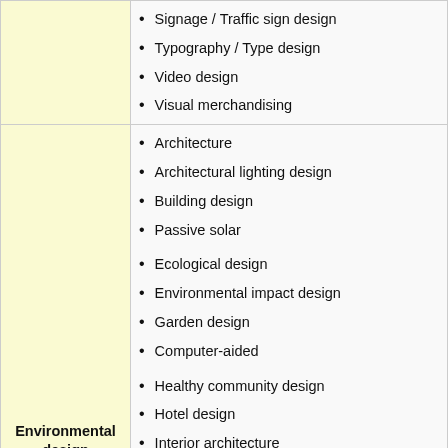Signage / Traffic sign design
Typography / Type design
Video design
Visual merchandising
Architecture
Architectural lighting design
Building design
Passive solar
Ecological design
Environmental impact design
Garden design
Computer-aided
Healthy community design
Hotel design
Interior architecture
Interior design
EID